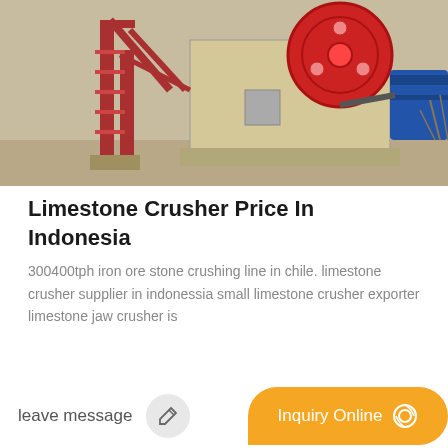[Figure (photo): Photograph of a limestone jaw crusher machine with red metal frame and large red flywheel, outdoors]
Limestone Crusher Price In Indonesia
300400tph iron ore stone crushing line in chile. limestone crusher supplier in indonessia small limestone crusher exporter limestone jaw crusher is
[Figure (photo): Photograph of industrial processing equipment with metal pipes and steel framework structure under blue sky]